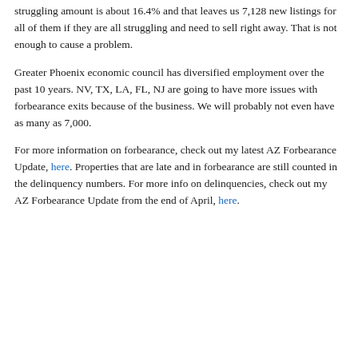struggling amount is about 16.4% and that leaves us 7,128 new listings for all of them if they are all struggling and need to sell right away. That is not enough to cause a problem.
Greater Phoenix economic council has diversified employment over the past 10 years. NV, TX, LA, FL, NJ are going to have more issues with forbearance exits because of the business. We will probably not even have as many as 7,000.
For more information on forbearance, check out my latest AZ Forbearance Update, here. Properties that are late and in forbearance are still counted in the delinquency numbers. For more info on delinquencies, check out my AZ Forbearance Update from the end of April, here.